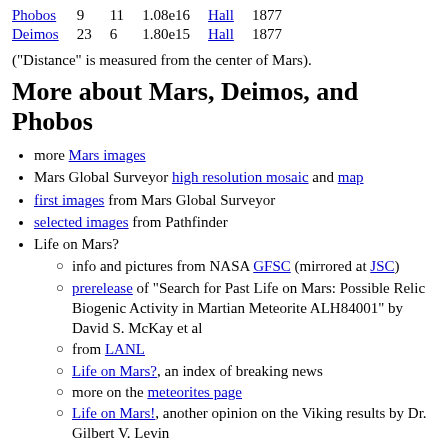| Phobos | 9 | 11 | 1.08e16 | Hall | 1877 |
| Deimos | 23 | 6 | 1.80e15 | Hall | 1877 |
("Distance" is measured from the center of Mars).
More about Mars, Deimos, and Phobos
more Mars images
Mars Global Surveyor high resolution mosaic and map
first images from Mars Global Surveyor
selected images from Pathfinder
Life on Mars?
info and pictures from NASA GFSC (mirrored at JSC)
prerelease of "Search for Past Life on Mars: Possible Relic Biogenic Activity in Martian Meteorite ALH84001" by David S. McKay et al
from LANL
Life on Mars?, an index of breaking news
more on the meteorites page
Life on Mars!, another opinion on the Viking results by Dr. Gilbert V. Levin
On the Question of the Mars Meteorite from LPI
bacterial remains in the Nakhla meteorite?
SNC Meteorites